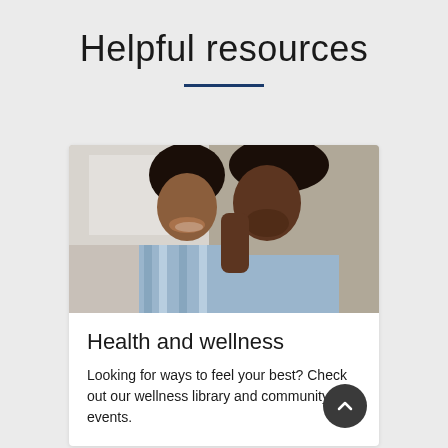Helpful resources
[Figure (photo): Two people, a woman and a man, smiling and leaning their heads together in a warm, affectionate moment indoors.]
Health and wellness
Looking for ways to feel your best? Check out our wellness library and community events.